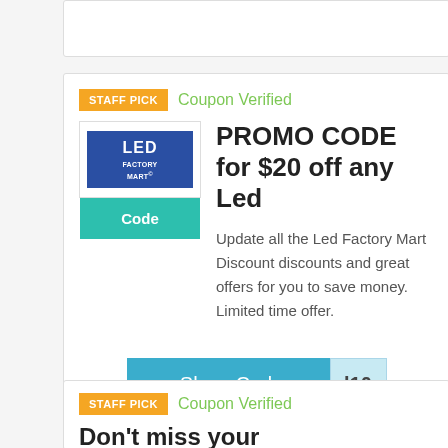[Figure (other): Partial coupon card at top, cropped]
STAFF PICK
Coupon Verified
[Figure (logo): LED Factory Mart logo - blue rectangle with white text]
Code
PROMO CODE for $20 off any Led
Update all the Led Factory Mart Discount discounts and great offers for you to save money. Limited time offer.
Show Code
l10
STAFF PICK
Coupon Verified
Don't miss your